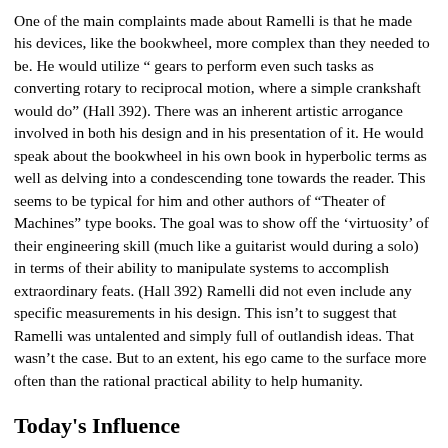One of the main complaints made about Ramelli is that he made his devices, like the bookwheel, more complex than they needed to be. He would utilize " gears to perform even such tasks as converting rotary to reciprocal motion, where a simple crankshaft would do" (Hall 392). There was an inherent artistic arrogance involved in both his design and in his presentation of it. He would speak about the bookwheel in his own book in hyperbolic terms as well as delving into a condescending tone towards the reader. This seems to be typical for him and other authors of “Theater of Machines” type books. The goal was to show off the ‘virtuosity’ of their engineering skill (much like a guitarist would during a solo) in terms of their ability to manipulate systems to accomplish extraordinary feats. (Hall 392) Ramelli did not even include any specific measurements in his design. This isn’t to suggest that Ramelli was untalented and simply full of outlandish ideas. That wasn’t the case. But to an extent, his ego came to the surface more often than the rational practical ability to help humanity.
Today's Influence
Ramelli’s bookwheel was for the information savvy people of the day. Today there is technology that allows us to cross reference more things quicker, observe multiple things at once, and feed our ADD